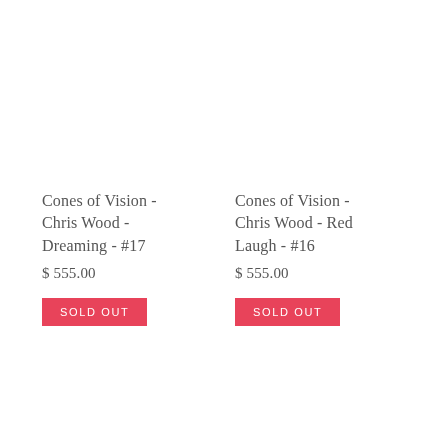Cones of Vision - Chris Wood - Dreaming - #17
$ 555.00
SOLD OUT
Cones of Vision - Chris Wood - Red Laugh - #16
$ 555.00
SOLD OUT